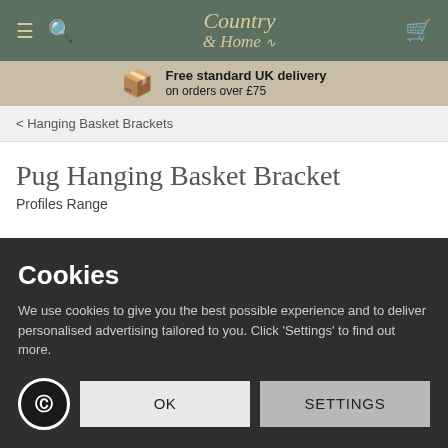Country & Home — navigation bar with menu, search, logo, and cart icons
Free standard UK delivery on orders over £75
< Hanging Basket Brackets
Pug Hanging Basket Bracket
Profiles Range
Cookies
We use cookies to give you the best possible experience and to deliver personalised advertising tailored to you. Click 'Settings' to find out more.
OK
SETTINGS